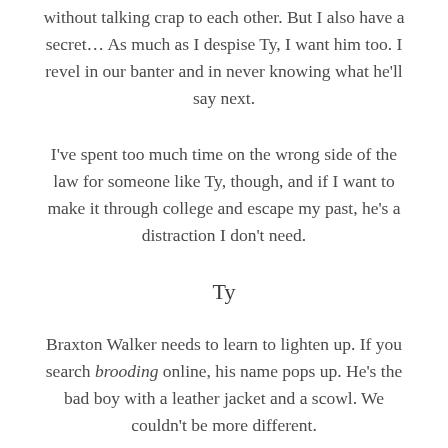without talking crap to each other. But I also have a secret... As much as I despise Ty, I want him too. I revel in our banter and in never knowing what he'll say next.
I've spent too much time on the wrong side of the law for someone like Ty, though, and if I want to make it through college and escape my past, he's a distraction I don't need.
Ty
Braxton Walker needs to learn to lighten up. If you search brooding online, his name pops up. He's the bad boy with a leather jacket and a scowl. We couldn't be more different.
Finding someone...